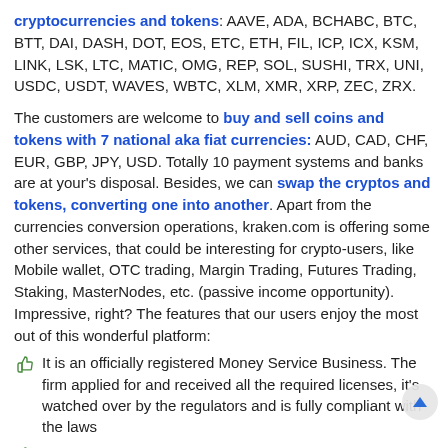cryptocurrencies and tokens: AAVE, ADA, BCHABC, BTC, BTT, DAI, DASH, DOT, EOS, ETC, ETH, FIL, ICP, ICX, KSM, LINK, LSK, LTC, MATIC, OMG, REP, SOL, SUSHI, TRX, UNI, USDC, USDT, WAVES, WBTC, XLM, XMR, XRP, ZEC, ZRX.
The customers are welcome to buy and sell coins and tokens with 7 national aka fiat currencies: AUD, CAD, CHF, EUR, GBP, JPY, USD. Totally 10 payment systems and banks are at your's disposal. Besides, we can swap the cryptos and tokens, converting one into another. Apart from the currencies conversion operations, kraken.com is offering some other services, that could be interesting for crypto-users, like Mobile wallet, OTC trading, Margin Trading, Futures Trading, Staking, MasterNodes, etc. (passive income opportunity). Impressive, right? The features that our users enjoy the most out of this wonderful platform:
It is an officially registered Money Service Business. The firm applied for and received all the required licenses, it's watched over by the regulators and is fully compliant with the laws
The website has being online and operational for years; it started up 11 years ago
The platform allows deposits/withdrawals in 34 cryptocurrencies and 7 national ones. In total, you may choose from 10 online banks and payment systems. Crypto- and tokens- exchanging aside, some other services are rendered: Mobile wallet, OTC trading, Margin Trading, Futures Trading and Staking, MasterNodes, etc.